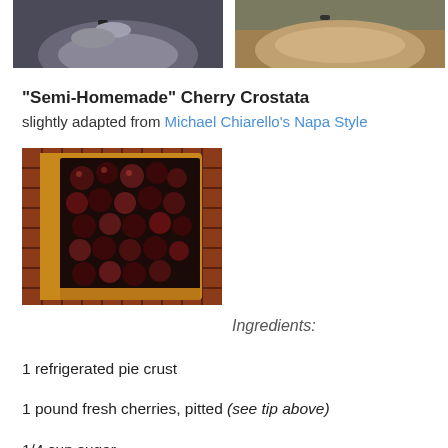[Figure (photo): Two photos at top showing hands holding cherries]
"Semi-Homemade" Cherry Crostata
slightly adapted from Michael Chiarello's Napa Style
[Figure (photo): Cherry crostata tart on a cooling rack]
Ingredients:
1 refrigerated pie crust
1 pound fresh cherries, pitted (see tip above)
1/4 cup sugar
1 tablespoon all-purpose flour
1/4 teaspoon cinnamon
1 egg